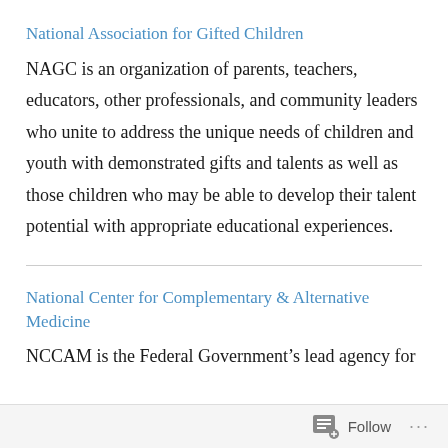National Association for Gifted Children
NAGC is an organization of parents, teachers, educators, other professionals, and community leaders who unite to address the unique needs of children and youth with demonstrated gifts and talents as well as those children who may be able to develop their talent potential with appropriate educational experiences.
National Center for Complementary & Alternative Medicine
NCCAM is the Federal Government’s lead agency for